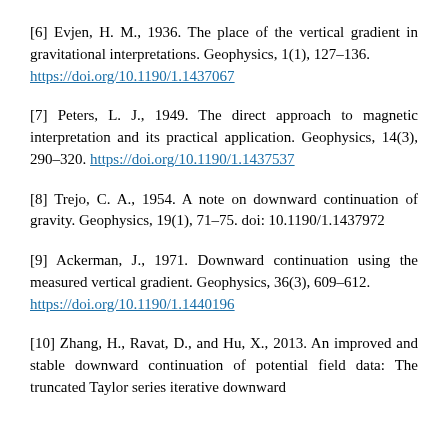[6] Evjen, H. M., 1936. The place of the vertical gradient in gravitational interpretations. Geophysics, 1(1), 127–136. https://doi.org/10.1190/1.1437067
[7] Peters, L. J., 1949. The direct approach to magnetic interpretation and its practical application. Geophysics, 14(3), 290–320. https://doi.org/10.1190/1.1437537
[8] Trejo, C. A., 1954. A note on downward continuation of gravity. Geophysics, 19(1), 71–75. doi: 10.1190/1.1437972
[9] Ackerman, J., 1971. Downward continuation using the measured vertical gradient. Geophysics, 36(3), 609–612. https://doi.org/10.1190/1.1440196
[10] Zhang, H., Ravat, D., and Hu, X., 2013. An improved and stable downward continuation of potential field data: The truncated Taylor series iterative downward